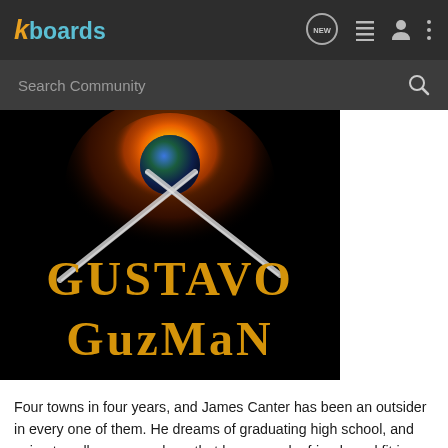kboards
[Figure (screenshot): Kboards website navigation bar with logo, NEW message icon, list icon, user icon, and dots menu icon]
[Figure (screenshot): Search Community search bar on dark background]
[Figure (illustration): Book cover with black background, two crossed blades/swords, an explosive orange fireball with a planet, and the author name 'GUSTAVO GUZMAN' in gold serif letters]
Four towns in four years, and James Canter has been an outsider in every one of them. He dreams of graduating high school, and going to college somewhere that he can make friends and fit in. What James doesn't know is that his fate will